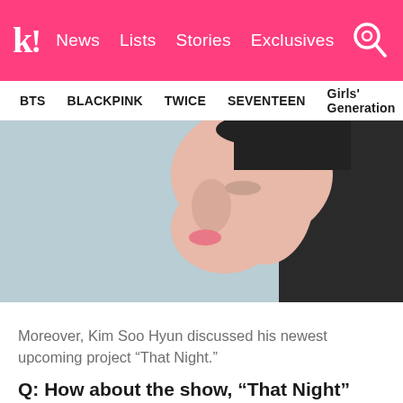k! News  Lists  Stories  Exclusives
BTS  BLACKPINK  TWICE  SEVENTEEN  Girls' Generation
[Figure (photo): Side profile close-up of Kim Soo Hyun, a Korean male celebrity, looking downward against a light blue/grey background, wearing a black top with embellishments on the shoulder]
Moreover, Kim Soo Hyun discussed his newest upcoming project “That Night.”
Q: How about the show, “That Night”